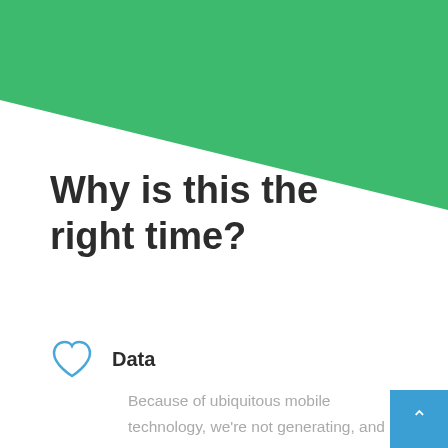[Figure (illustration): Green diagonal triangular banner decoration in the top-right corner of the page]
Why is this the right time?
Data
Because of ubiquitous mobile technology, we're not generating, and collecting more data than ever before.